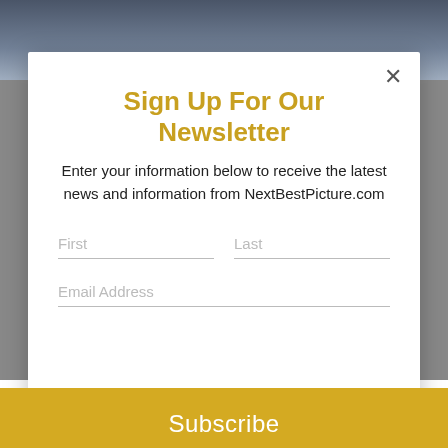[Figure (photo): Dark background photo banner at the top of the page, partially visible behind the modal overlay]
Sign Up For Our Newsletter
Enter your information below to receive the latest news and information from NextBestPicture.com
Subscribe button with First, Last, and Email Address form fields
"Mother!", "Stronger," "Victoria & Abdul" and "The LEGO Ninjago Movie." If you click on the images below, you will be redirected to